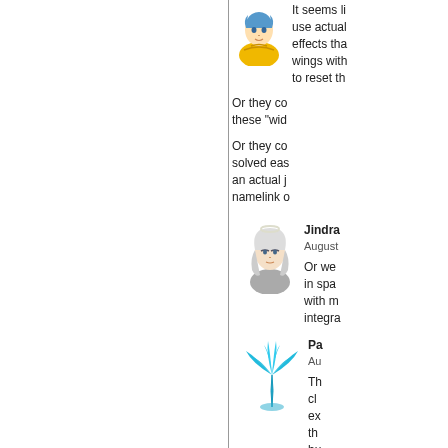[Figure (illustration): Anime character with yellow hoodie and blue hair, avatar icon]
It seems li use actual effects tha wings with to reset th
Or they co these "wid
Or they co solved eas an actual j namelink o
[Figure (illustration): Anime character with silver/white hair, avatar icon]
Jindra
August
Or we in spa with m integra
[Figure (illustration): Teal/cyan palm tree icon, avatar]
Pa
Au
Th cl ex th bu